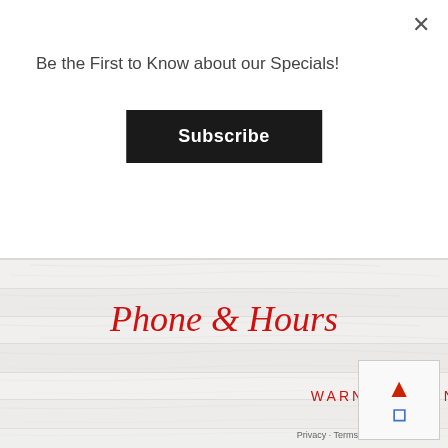Be the First to Know about our Specials!
Subscribe
[Figure (screenshot): Wood grain background texture — horizontal whitewashed wood planks in light gray/white tones]
Phone & Hours
WARNER ROBINS, GA
[Figure (other): reCAPTCHA widget with red upward arrow icon and blue reCAPTCHA logo, Privacy and Terms links below]